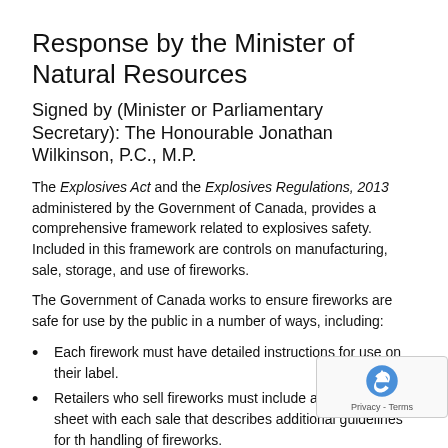Response by the Minister of Natural Resources
Signed by (Minister or Parliamentary Secretary): The Honourable Jonathan Wilkinson, P.C., M.P.
The Explosives Act and the Explosives Regulations, 2013 administered by the Government of Canada, provides a comprehensive framework related to explosives safety. Included in this framework are controls on manufacturing, sale, storage, and use of fireworks.
The Government of Canada works to ensure fireworks are safe for use by the public in a number of ways, including:
Each firework must have detailed instructions for use on their label.
Retailers who sell fireworks must include an information sheet with each sale that describes additional guidelines for the handling of fireworks.
Outreach materials such as educational videos, brochures, and safety alerts are available from the Government of Canada to